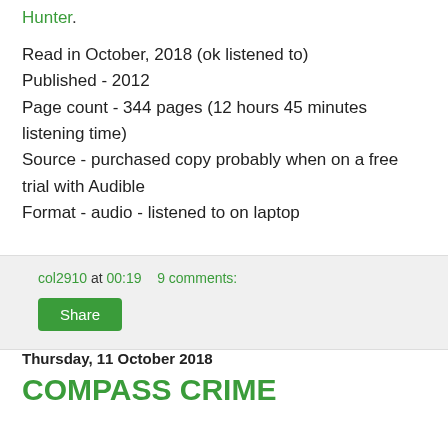Hunter.
Read in October, 2018 (ok listened to)
Published - 2012
Page count - 344 pages (12 hours 45 minutes listening time)
Source - purchased copy probably when on a free trial with Audible
Format - audio - listened to on laptop
col2910 at 00:19    9 comments:
Share
Thursday, 11 October 2018
COMPASS CRIME